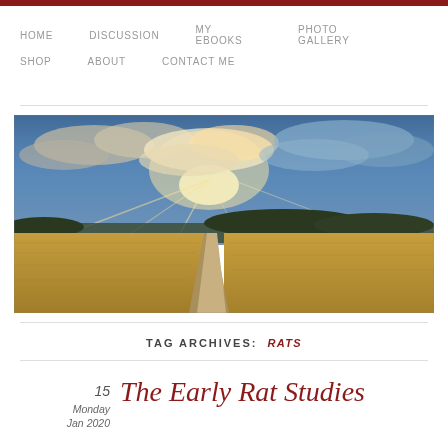HOME  DISCUSSION  MY EBOOKS  PHOTO GALLERY  SHOP  ABOUT  CONTACT ME
[Figure (photo): Panoramic landscape photo showing a dirt path through golden fields leading to a treeline on the horizon, with a dramatic cloudy sky at sunset/sunrise]
TAG ARCHIVES: RATS
15
Monday
Jan 2020
The Early Rat Studies and Genera...